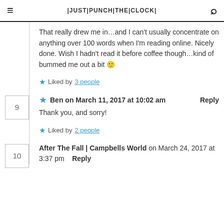≡  |Just|Punch|The|Clock|  🔍
That really drew me in…and I can't usually concentrate on anything over 100 words when I'm reading online. Nicely done. Wish I hadn't read it before coffee though…kind of bummed me out a bit 🙂
★ Liked by 3 people
★ Ben on March 11, 2017 at 10:02 am  Reply
Thank you, and sorry!
★ Liked by 2 people
After The Fall | Campbells World on March 24, 2017 at 3:37 pm  Reply